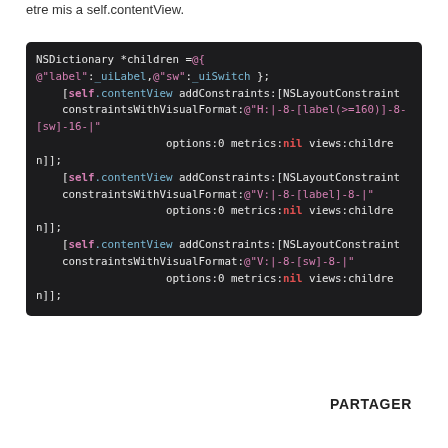etre mis a self.contentView.
[Figure (screenshot): Dark-themed code block showing Objective-C code with NSDictionary, self.contentView addConstraints, NSLayoutConstraint constraintsWithVisualFormat calls with various format strings and options.]
PARTAGER